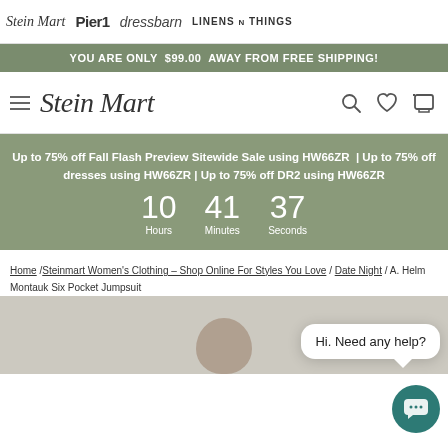Stein Mart | Pier1 | dressbarn | LINENS n THINGS
YOU ARE ONLY $99.00 AWAY FROM FREE SHIPPING!
[Figure (screenshot): Stein Mart logo with hamburger menu, search, wishlist, and cart icons]
Up to 75% off Fall Flash Preview Sitewide Sale using HW66ZR | Up to 75% off dresses using HW66ZR | Up to 75% off DR2 using HW66ZR
10 Hours 41 Minutes 37 Seconds
Home / Steinmart Women's Clothing – Shop Online For Styles You Love / Date Night / A. Helm Montauk Six Pocket Jumpsuit
Hi. Need any help?
[Figure (photo): Product photo area showing top of model's head]